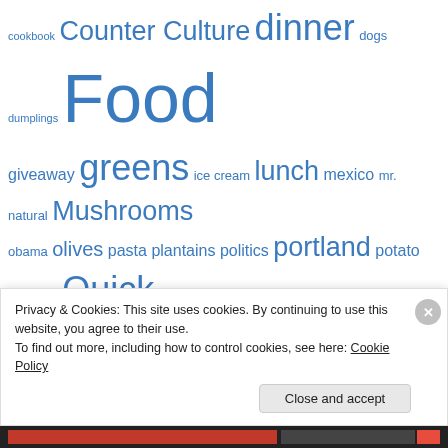cookbook Counter Culture dinner dogs dumplings Food giveaway greens ice cream lunch mexico mr. natural Mushrooms obama olives pasta plantains politics portland potato potatoes Quick Meals recipe restaurant rice Rice and beans sandwich sausage Seitan soup south austin spinach Sunny Days in Texas Sweet Ritual SXSW Taco taco cleanse tacos tater tots tempeh Texas Texas VegFest Thai Thanksgiving tofu tomato trailer Travel vegan vegan austin vegan brunch VeganMoFo vegan mofo veganomicon vegan restaurant
Privacy & Cookies: This site uses cookies. By continuing to use this website, you agree to their use. To find out more, including how to control cookies, see here: Cookie Policy
Close and accept